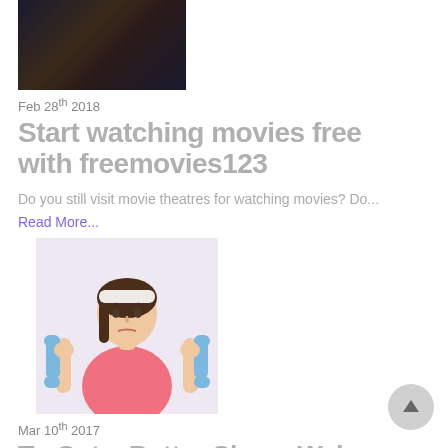[Figure (photo): Dark-toned movie/action scene thumbnail image]
Feb 28th 2018
Start watching movies free with freemovies123
Do you still visit movie theatres for watching movies? Do...
Read More...
[Figure (photo): Woman with white headband holding blue dumbbells in both hands, wearing a pink top, fitness/exercise theme]
Mar 10th 2017
To Get a Better Sleep, Wake up at The Same Time Every